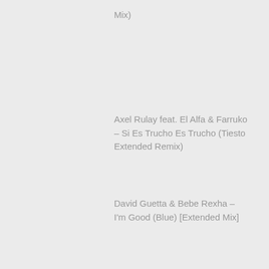Mix)
Axel Rulay feat. El Alfa & Farruko – Si Es Trucho Es Trucho (Tiesto Extended Remix)
David Guetta & Bebe Rexha – I'm Good (Blue) [Extended Mix]